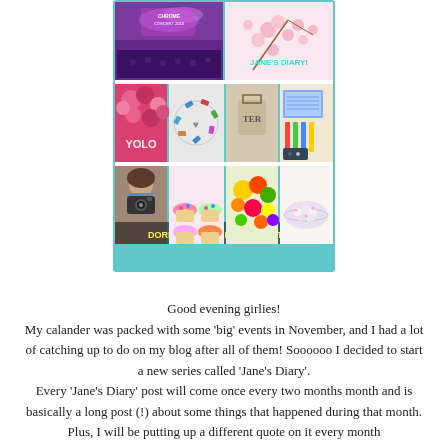[Figure (photo): Blog collage image grid with two sections. Top row: a concert photo with purple lighting and text 'CHROME CONCERT 2013', and a cherry blossom photo with text 'JANE'S DIARY!' in cyan. Middle row: four images with text 'YOLO' overlay — flowers, shoes arranged in a circle with a heart, a shopping bag, and stationery/notebooks. Bottom row: four images — person holding camera, cupcakes with Hello Kitty decorations, colorful items, a bowl of food. Bottom text reads 'DORKY, FIZZY AND QUIRKY STUFF' in yellow bold. Whole collage has a teal/cyan border.]
Good evening girlies!
My calander was packed with some 'big' events in November, and I had a lot of catching up to do on my blog after all of them! Soooooo I decided to start a new series called 'Jane's Diary'.
Every 'Jane's Diary' post will come once every two months month and is basically a long post (!) about some things that happened during that month. Plus, I will be putting up a different quote on it every month